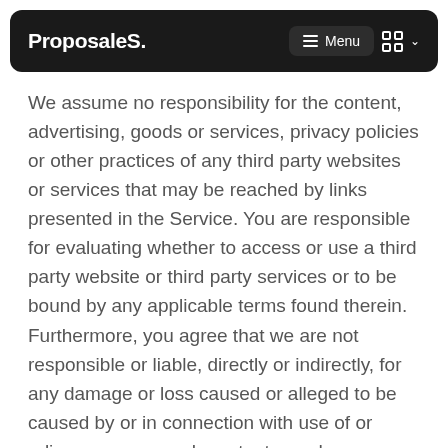ProposaleS. Menu
We assume no responsibility for the content, advertising, goods or services, privacy policies or other practices of any third party websites or services that may be reached by links presented in the Service. You are responsible for evaluating whether to access or use a third party website or third party services or to be bound by any applicable terms found therein. Furthermore, you agree that we are not responsible or liable, directly or indirectly, for any damage or loss caused or alleged to be caused by or in connection with use of or reliance on any such content, goods or services available on or through any such third party website or service.